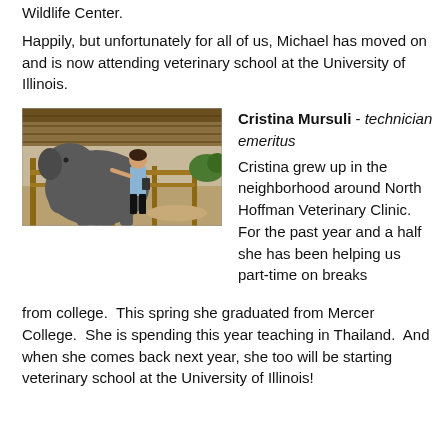Wildlife Center.
Happily, but unfortunately for all of us, Michael has moved on and is now attending veterinary school at the University of Illinois.
[Figure (photo): A woman standing next to a large elephant in an outdoor enclosure with wooden fencing and a thatched roof structure.]
Cristina Mursuli - technician emeritus
Cristina grew up in the neighborhood around North Hoffman Veterinary Clinic.  For the past year and a half she has been helping us part-time on breaks from college.  This spring she graduated from Mercer College.  She is spending this year teaching in Thailand.  And when she comes back next year, she too will be starting veterinary school at the University of Illinois!